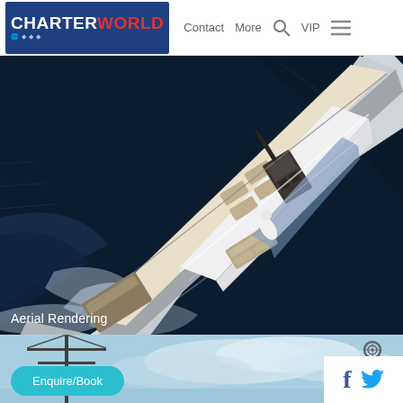CHARTERWORLD  Contact  More  VIP
[Figure (photo): Aerial view of a large luxury motor yacht underway on dark blue water, photographed from above at an angle, showing the deck with seating areas, superstructure, and white wake behind the vessel.]
Aerial Rendering
[Figure (photo): Partial view of a yacht against a light blue cloudy sky, with a mast visible on the left side.]
Enquire/Book
[Figure (other): Social media icons: Facebook (f) and Twitter (bird) in a white box at bottom right]